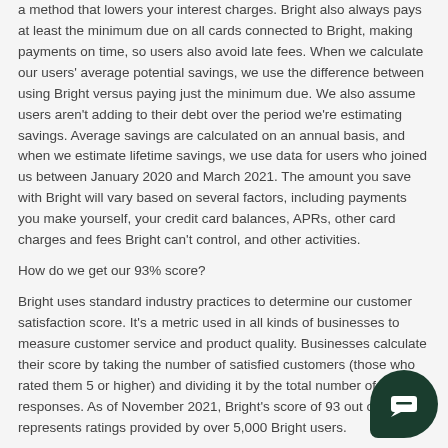a method that lowers your interest charges. Bright also always pays at least the minimum due on all cards connected to Bright, making payments on time, so users also avoid late fees. When we calculate our users' average potential savings, we use the difference between using Bright versus paying just the minimum due. We also assume users aren't adding to their debt over the period we're estimating savings. Average savings are calculated on an annual basis, and when we estimate lifetime savings, we use data for users who joined us between January 2020 and March 2021. The amount you save with Bright will vary based on several factors, including payments you make yourself, your credit card balances, APRs, other card charges and fees Bright can't control, and other activities.
How do we get our 93% score?
Bright uses standard industry practices to determine our customer satisfaction score. It's a metric used in all kinds of businesses to measure customer service and product quality. Businesses calculate their score by taking the number of satisfied customers (those who rated them 5 or higher) and dividing it by the total number of responses. As of November 2021, Bright's score of 93 out of 100 represents ratings provided by over 5,000 Bright users.
* Based on Apple Appstore and Google Play store ratings on May 2022.
[Figure (illustration): Dark green circular chat bubble button with a message/chat icon in white, positioned in the bottom-right corner of the page]